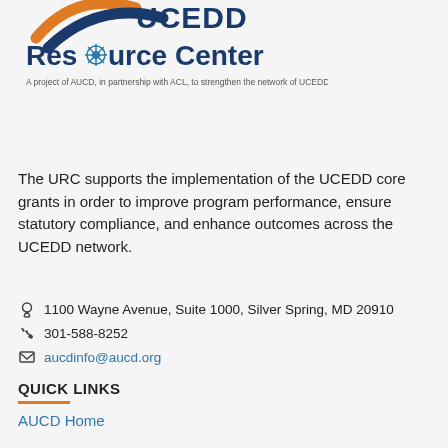[Figure (logo): UCEDD Resource Center logo with arc graphic, gear icon in 'Resource Center' text, and tagline 'A project of AUCD, in partnership with ACL, to strengthen the network of UCEDDs']
The URC supports the implementation of the UCEDD core grants in order to improve program performance, ensure statutory compliance, and enhance outcomes across the UCEDD network.
1100 Wayne Avenue, Suite 1000, Silver Spring, MD 20910
301-588-8252
aucdinfo@aucd.org
QUICK LINKS
AUCD Home